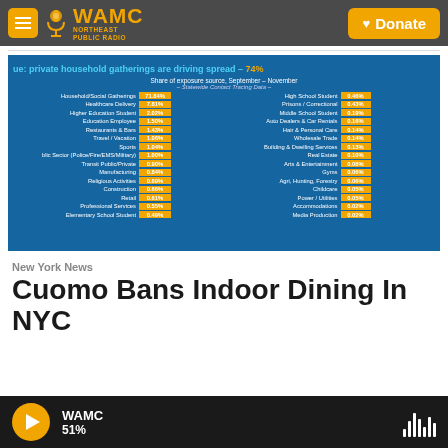WAMC Northeast Public Radio | Donate
[Figure (table-as-image): Slide showing share of exposure source September-November from Statewide Contact Tracing Data. Title: private household gatherings are driving spread - 74%. Two-column table of categories and percentages. Left: Household/Social Gatherings 71.84%, Healthcare Delivery 7.81%, Higher Education Student 2.02%, Education Employee 1.50%, Restaurants & Bars 1.43%, Travel/Vacation 1.06%, Sports 1.04%, Public Sector (Police/Fire/EMS/Military) 1.00%, Transit Public/Private 0.90%, Manufacturing 0.84%, Religious Activities 0.69%, Construction 0.66%, Retail 0.61%, Professional Services 0.55%, Elementary School Student 0.49%. Right: High School Student 0.46%, Prisons/Correctional 0.43%, Middle School Student 0.19%, Auto Dealers & Car Rentals 0.16%, Hair & Personal Care 0.14%, Wholesale Trade 0.14%, Building & Dwelling Services 0.13%, Real Estate 0.10%, Arts & Entertainment 0.08%, Gyms 0.06%, Agri, Hunting, Forestry 0.06%, Childcare 0.05%, Power/Utilities 0.05%, Accommodations 0.02%, Media Production 0.02%]
New York News
Cuomo Bans Indoor Dining In NYC
WAMC 51%